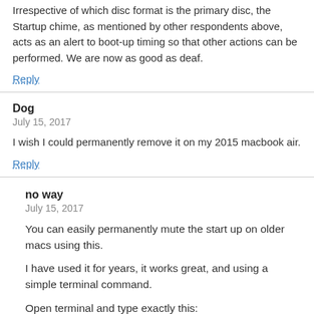Irrespective of which disc format is the primary disc, the Startup chime, as mentioned by other respondents above, acts as an alert to boot-up timing so that other actions can be performed. We are now as good as deaf.
Reply
Dog
July 15, 2017
I wish I could permanently remove it on my 2015 macbook air.
Reply
no way
July 15, 2017
You can easily permanently mute the start up on older macs using this.
I have used it for years, it works great, and using a simple terminal command.
Open terminal and type exactly this: